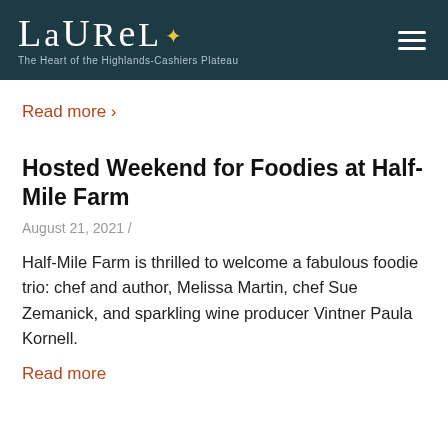LAUREL – The Heart of the Highlands-Cashiers Plateau
Read more ›
Hosted Weekend for Foodies at Half-Mile Farm
August 21, 2021 /
Half-Mile Farm is thrilled to welcome a fabulous foodie trio: chef and author, Melissa Martin, chef Sue Zemanick, and sparkling wine producer Vintner Paula Kornell.
Read more